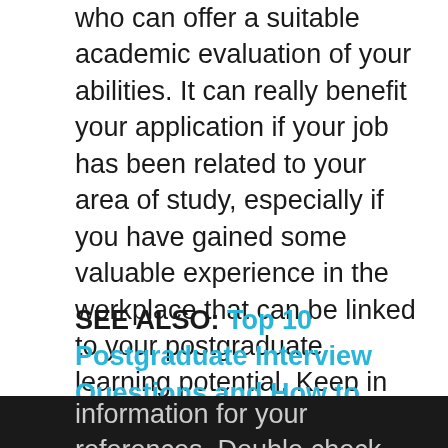who can offer a suitable academic evaluation of your abilities. It can really benefit your application if your job has been related to your area of study, especially if you have gained some valuable experience in the workplace that can be linked to your postgraduate learning potential. Keep in mind that character references will not be relevant to your application, so be sure to avoid choosing friends or family members as personal referees, as this sort of information about you will not be applicable.
SEE ALSO: Top 10 Postgraduate Interview Questions and How to Answer them!
There are a few do's and don'ts to take into consideration when filling out your postgraduate application. Make sure you give all of the correct information for your references. Double check all your personal details and don't give an outdated